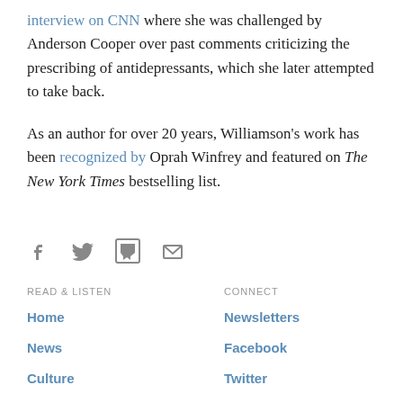interview on CNN where she was challenged by Anderson Cooper over past comments criticizing the prescribing of antidepressants, which she later attempted to take back.
As an author for over 20 years, Williamson's work has been recognized by Oprah Winfrey and featured on The New York Times bestselling list.
[Figure (infographic): Row of four social sharing icons: Facebook, Twitter, Flipboard, Email]
READ & LISTEN
CONNECT
Home
Newsletters
News
Facebook
Culture
Twitter